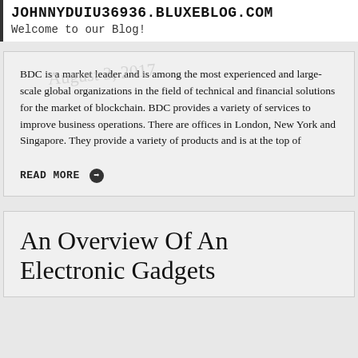JOHNNYDUIU36936.BLUXEBLOG.COM
Welcome to our Blog!
BDC is a market leader and is among the most experienced and large-scale global organizations in the field of technical and financial solutions for the market of blockchain. BDC provides a variety of services to improve business operations. There are offices in London, New York and Singapore. They provide a variety of products and is at the top of
READ MORE
An Overview Of An Electronic Gadgets